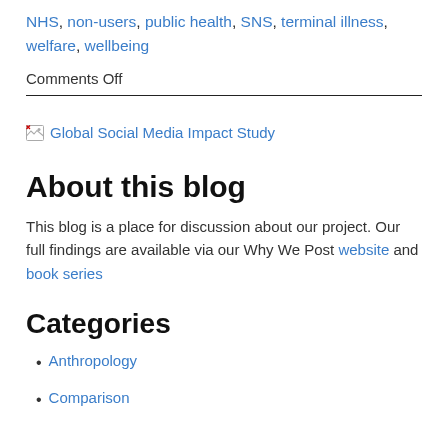NHS, non-users, public health, SNS, terminal illness, welfare, wellbeing
Comments Off
[Figure (illustration): Broken image placeholder icon followed by blue hyperlink text reading 'Global Social Media Impact Study']
About this blog
This blog is a place for discussion about our project. Our full findings are available via our Why We Post website and book series
Categories
Anthropology
Comparison